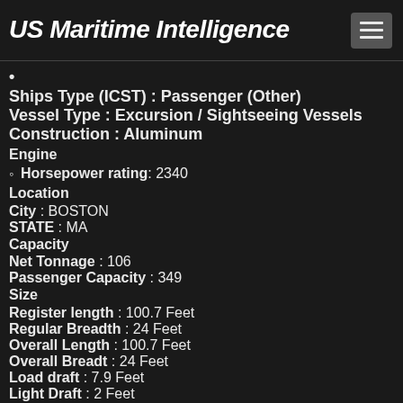US Maritime Intelligence
Ships Type (ICST) : Passenger (Other)
Vessel Type : Excursion / Sightseeing Vessels
Construction : Aluminum
Engine
Horsepower rating : 2340
Location
City : BOSTON
STATE : MA
Capacity
Net Tonnage : 106
Passenger Capacity : 349
Size
Register length : 100.7 Feet
Regular Breadth : 24 Feet
Overall Length : 100.7 Feet
Overall Breadt : 24 Feet
Load draft : 7.9 Feet
Light Draft : 2 Feet
Height : 22 Feet
Other